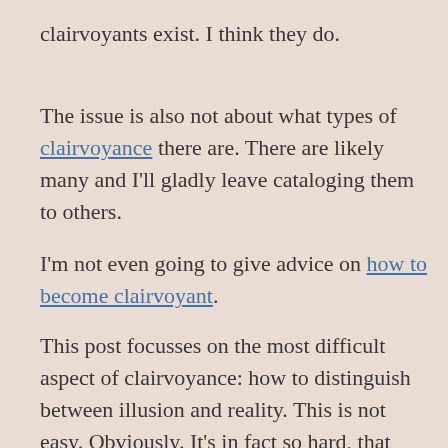clairvoyants exist. I think they do.
The issue is also not about what types of clairvoyance there are. There are likely many and I'll gladly leave cataloging them to others.
I'm not even going to give advice on how to become clairvoyant.
This post focusses on the most difficult aspect of clairvoyance: how to distinguish between illusion and reality. This is not easy. Obviously. It's in fact so hard, that psychologists generally prefer to think all clairvoyance is nonsense. They have two fears, or so a psychotherapist recently told me: